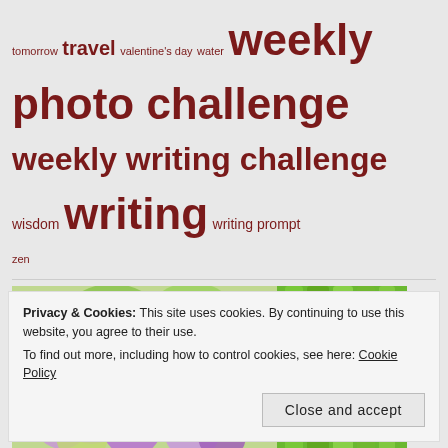tomorrow travel valentine's day water weekly photo challenge weekly writing challenge wisdom writing writing prompt zen
[Figure (photo): Two side-by-side photos: left shows a cluster of colorful grapes (green, pink, purple), right shows green bamboo stalks]
Privacy & Cookies: This site uses cookies. By continuing to use this website, you agree to their use. To find out more, including how to control cookies, see here: Cookie Policy
Close and accept